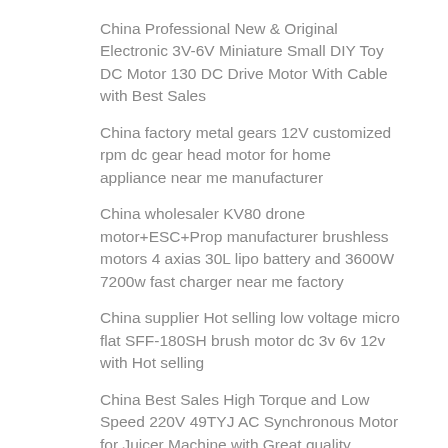China Professional New & Original Electronic 3V-6V Miniature Small DIY Toy DC Motor 130 DC Drive Motor With Cable with Best Sales
China factory metal gears 12V customized rpm dc gear head motor for home appliance near me manufacturer
China wholesaler KV80 drone motor+ESC+Prop manufacturer brushless motors 4 axias 30L lipo battery and 3600W 7200w fast charger near me factory
China supplier Hot selling low voltage micro flat SFF-180SH brush motor dc 3v 6v 12v with Hot selling
China Best Sales High Torque and Low Speed 220V 49TYJ AC Synchronous Motor for Juicer Machine with Great quality
China best High quality cnc fanuc drive A06B-0227-B001 dc 72v ac 750w servo motor wholesaler